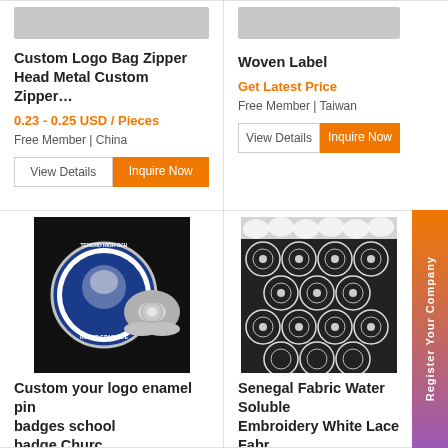[Figure (photo): Partial top image of product (cropped at top)]
Custom Logo Bag Zipper Head Metal Custom Zipper…
0.23 - 0.25 USD / Pieces
Free Member | China
[Figure (photo): Woven Label product partial image (cropped at top)]
Woven Label
Get Latest Price
Free Member | Taiwan
[Figure (photo): Custom enamel pin badges - school badge showing blue/white circular badge with eagle design and a butterfly clutch back]
Custom your logo enamel pin badges school badge,Churc…
0.23 - 0.3 USD / Pieces
Free Member | China
[Figure (photo): Senegal Fabric Water Soluble Embroidery White Lace Fabric - black and white lace texture with circular pattern]
Senegal Fabric Water Soluble Embroidery White Lace Fabr…
11.58 - 12.87 USD / Yards
Free Member | China